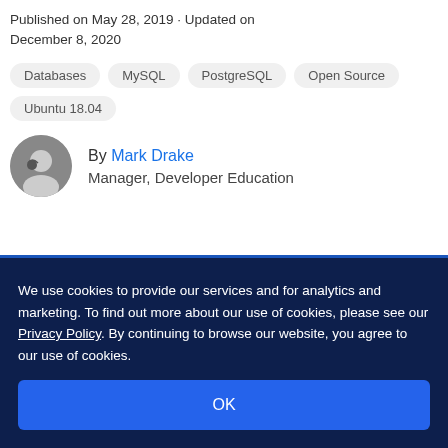Published on May 28, 2019 · Updated on December 8, 2020
Databases
MySQL
PostgreSQL
Open Source
Ubuntu 18.04
By Mark Drake
Manager, Developer Education
We use cookies to provide our services and for analytics and marketing. To find out more about our use of cookies, please see our Privacy Policy. By continuing to browse our website, you agree to our use of cookies.
OK